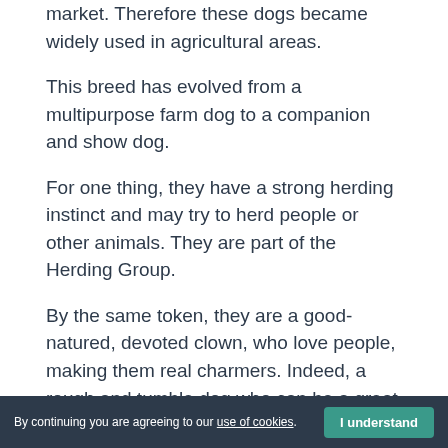market. Therefore these dogs became widely used in agricultural areas.
This breed has evolved from a multipurpose farm dog to a companion and show dog.
For one thing, they have a strong herding instinct and may try to herd people or other animals. They are part of the Herding Group.
By the same token, they are a good-natured, devoted clown, who love people, making them real charmers. Indeed, a rough and tumble dog who can be a great playmate for children, however, he takes his responsibility to them seriously. In fact, unless you can
By continuing you are agreeing to our use of cookies.  I understand